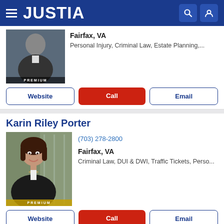JUSTIA
Fairfax, VA
Personal Injury, Criminal Law, Estate Planning,...
Website | Call | Email
Karin Riley Porter
(703) 278-2800
Fairfax, VA
Criminal Law, DUI & DWI, Traffic Tickets, Perso...
Website | Call | Email
Madison Glossner